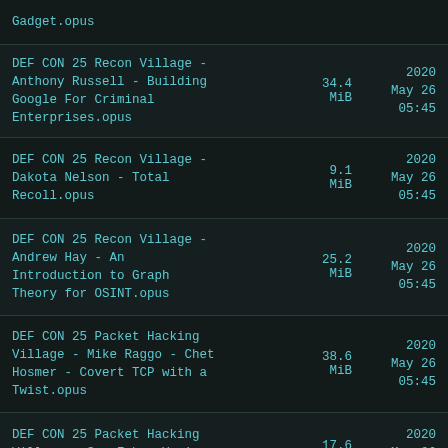Gadget.opus
DEF CON 25 Recon Village - Anthony Russell - Building Google For Criminal Enterprises.opus	34.4 MiB	2020 May 26 05:45
DEF CON 25 Recon Village - Dakota Nelson - Total Recoll.opus	9.1 MiB	2020 May 26 05:45
DEF CON 25 Recon Village - Andrew Hay - An Introduction to Graph Theory for OSINT.opus	25.2 MiB	2020 May 26 05:45
DEF CON 25 Packet Hacking Village - Mike Raggo - Chet Hosmer - Covert TCP with a Twist.opus	38.6 MiB	2020 May 26 05:45
DEF CON 25 Packet Hacking Village - Sam Erb - You're Going to Connect to the	17.6 MiB	2020 May 26 05:45